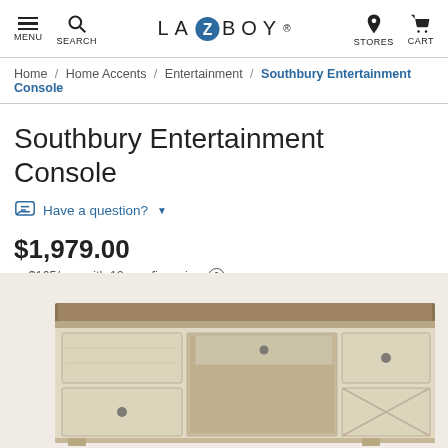LA-Z-BOY | MENU | SEARCH | STORES | CART
Home / Home Accents / Entertainment / Southbury Entertainment Console
Southbury Entertainment Console
Have a question? ▼
$1,979.00
or $165/mo. with 12 mo. financing ?
[Figure (photo): Rustic white/cream distressed wood entertainment console with multiple drawers, an open center shelf, and decorative door panels with X-pattern design.]